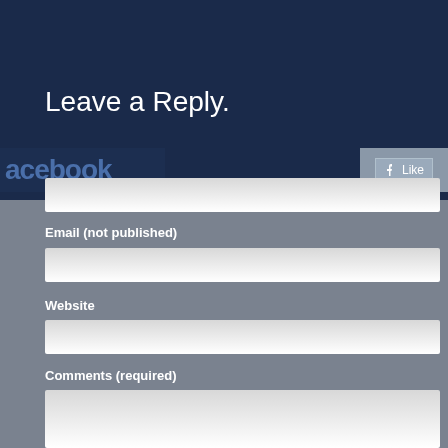Leave a Reply.
Name (required)
[Figure (screenshot): Facebook logo text partially visible on dark navy background]
Email (not published)
Website
Comments (required)